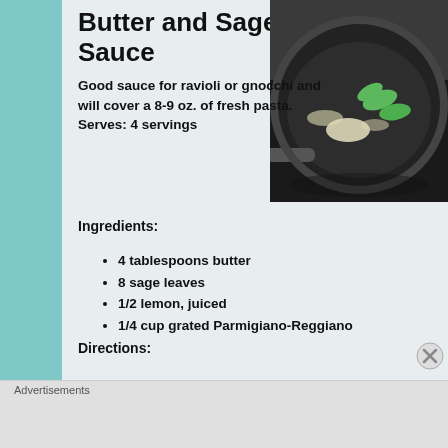Butter and Sage Sauce
Good sauce for ravioli or gnocchi and will cover a 8-9 oz. of fresh pasta. Serves: 4 servings
[Figure (photo): A black skillet on a stovetop with butter melting and sage leaves in the pan]
Ingredients:
4 tablespoons butter
8 sage leaves
1/2 lemon, juiced
1/4 cup grated Parmigiano-Reggiano
Directions:
Advertisements